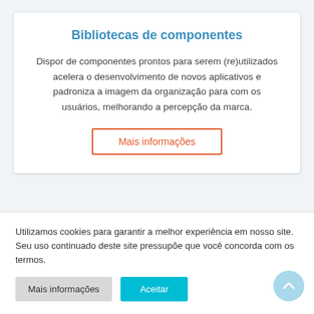Bibliotecas de componentes
Dispor de componentes prontos para serem (re)utilizados acelera o desenvolvimento de novos aplicativos e padroniza a imagem da organização para com os usuários, melhorando a percepção da marca.
Mais informações
Utilizamos cookies para garantir a melhor experiência em nosso site. Seu uso continuado deste site pressupõe que você concorda com os termos.
Mais informações
Aceitar